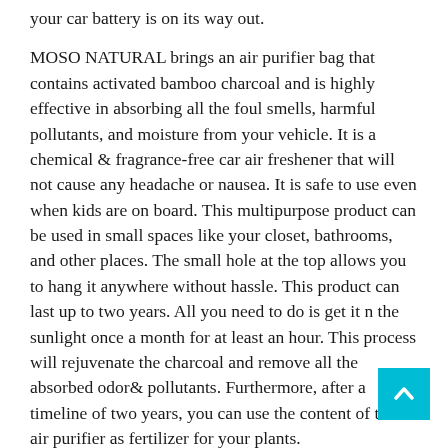your car battery is on its way out.
MOSO NATURAL brings an air purifier bag that contains activated bamboo charcoal and is highly effective in absorbing all the foul smells, harmful pollutants, and moisture from your vehicle. It is a chemical & fragrance-free car air freshener that will not cause any headache or nausea. It is safe to use even when kids are on board. This multipurpose product can be used in small spaces like your closet, bathrooms, and other places. The small hole at the top allows you to hang it anywhere without hassle. This product can last up to two years. All you need to do is get it n the sunlight once a month for at least an hour. This process will rejuvenate the charcoal and remove all the absorbed odor& pollutants. Furthermore, after a timeline of two years, you can use the content of this air purifier as fertilizer for your plants.
What is the Best Way to Maintain Your Car? There are many ways to maintain your car. We will discuss some of the most popular ones and their benefits. The following tips will help you maintain a new car. Never